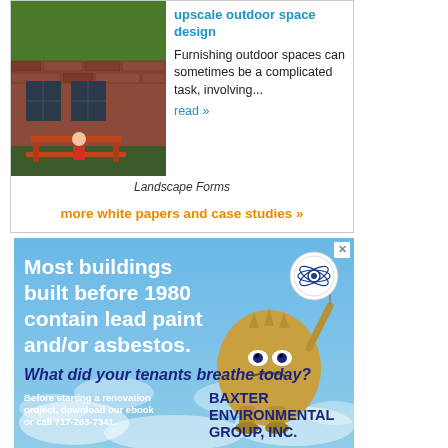[Figure (photo): Photo of a woman sitting at an orange picnic table in front of a brick building covered with ivy. Landscape Forms branding.]
Landscape Forms
upscale outdoor space design
Furnishing outdoor spaces can sometimes be a complicated task, involving...
read »
more white papers and case studies »
[Figure (infographic): Advertisement for Baxter Environmental Group, Inc. Blue sky background with a cartoon monster holding a flag. Text: 'Most buildings built before 1980 contain lead paint and/or asbestos. What did your tenants breathe today? Before starting a renovation project, download our ebook or call 717-263-7341. BAXTER ENVIRONMENTAL GROUP, INC.']